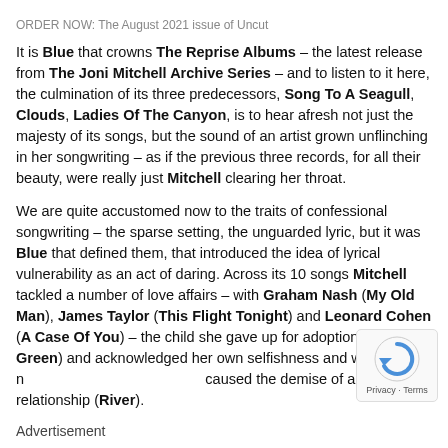ORDER NOW: The August 2021 issue of Uncut
It is Blue that crowns The Reprise Albums – the latest release from The Joni Mitchell Archive Series – and to listen to it here, the culmination of its three predecessors, Song To A Seagull, Clouds, Ladies Of The Canyon, is to hear afresh not just the majesty of its songs, but the sound of an artist grown unflinching in her songwriting – as if the previous three records, for all their beauty, were really just Mitchell clearing her throat.
We are quite accustomed now to the traits of confessional songwriting – the sparse setting, the unguarded lyric, but it was Blue that defined them, that introduced the idea of lyrical vulnerability as an act of daring. Across its 10 songs Mitchell tackled a number of love affairs – with Graham Nash (My Old Man), James Taylor (This Flight Tonight) and Leonard Cohen (A Case Of You) – the child she gave up for adoption (Little Green) and acknowledged her own selfishness and wilful nature that caused the demise of a relationship (River).
Advertisement